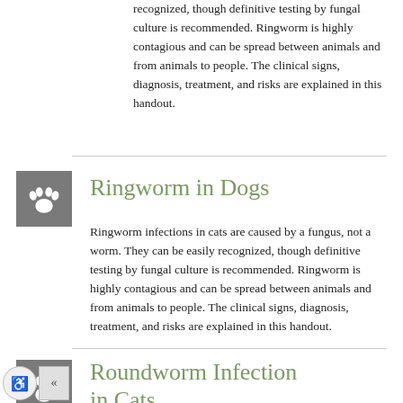recognized, though definitive testing by fungal culture is recommended. Ringworm is highly contagious and can be spread between animals and from animals to people. The clinical signs, diagnosis, treatment, and risks are explained in this handout.
Ringworm in Dogs
Ringworm infections in cats are caused by a fungus, not a worm. They can be easily recognized, though definitive testing by fungal culture is recommended. Ringworm is highly contagious and can be spread between animals and from animals to people. The clinical signs, diagnosis, treatment, and risks are explained in this handout.
Roundworm Infection in Cats